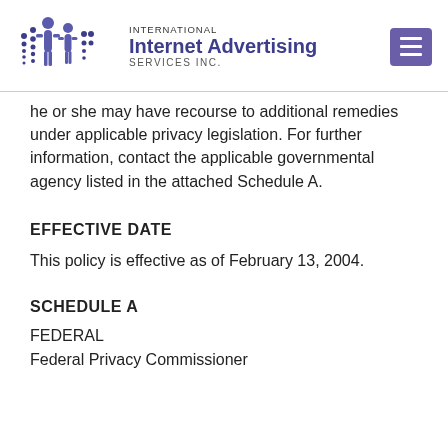International Internet Advertising SERVICES Inc.
he or she may have recourse to additional remedies under applicable privacy legislation. For further information, contact the applicable governmental agency listed in the attached Schedule A.
EFFECTIVE DATE
This policy is effective as of February 13, 2004.
SCHEDULE A
FEDERAL
Federal Privacy Commissioner